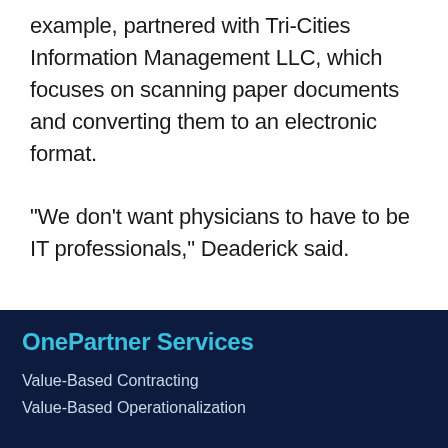example, partnered with Tri-Cities Information Management LLC, which focuses on scanning paper documents and converting them to an electronic format.
"We don't want physicians to have to be IT professionals," Deaderick said.
OnePartner Services
Value-Based Contracting
Value-Based Operationalization